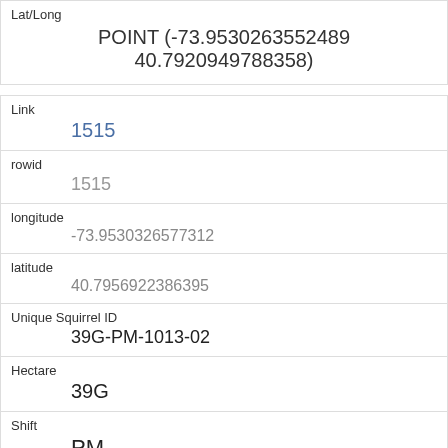| Field | Value |
| --- | --- |
| Lat/Long | POINT (-73.9530263552489 40.7920949788358) |
| Link | 1515 |
| rowid | 1515 |
| longitude | -73.9530326577312 |
| latitude | 40.7956922386395 |
| Unique Squirrel ID | 39G-PM-1013-02 |
| Hectare | 39G |
| Shift | PM |
| Date | 10132018 |
| Hectare Squirrel Number | 2 |